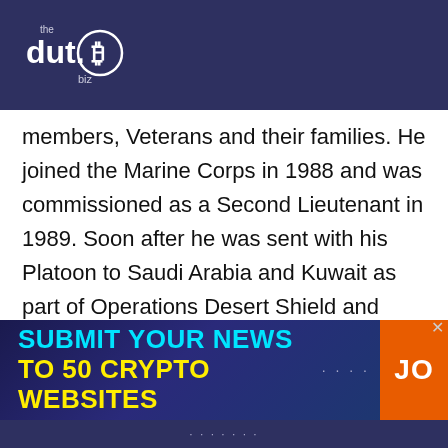[Figure (logo): the dut.B biz logo — white text and Bitcoin symbol on dark blue/purple background]
members, Veterans and their families. He joined the Marine Corps in 1988 and was commissioned as a Second Lieutenant in 1989. Soon after he was sent with his Platoon to Saudi Arabia and Kuwait as part of Operations Desert Shield and Desert Storm. After leaving the Corps, Grannan attended UC-Berkeley's Haas School of Business, earning an MBA. He went on to run several tech start-
[Figure (infographic): Advertisement banner: 'SUBMIT YOUR NEWS TO 50 CRYPTO WEBSITES' with cyan and yellow text on dark blue gradient background, orange button with 'JO' text, close X button]
· · · · · · ·